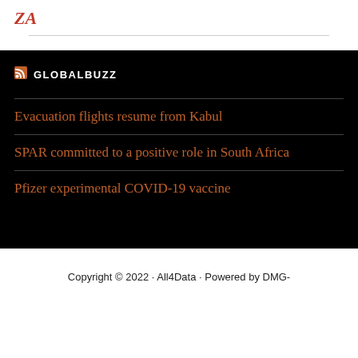ZA
GLOBALBUZZ
Evacuation flights resume from Kabul
SPAR committed to a positive role in South Africa
Pfizer experimental COVID-19 vaccine
Copyright © 2022 · All4Data · Powered by DMG-